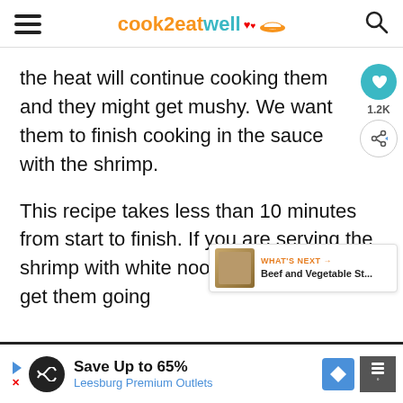cook2eatwell
the heat will continue cooking them and they might get mushy. We want them to finish cooking in the sauce with the shrimp.
This recipe takes less than 10 minutes from start to finish. If you are serving the shrimp with white noodles make sure to get them going
[Figure (infographic): What's Next panel showing Beef and Vegetable Stir-fry thumbnail]
Save Up to 65% Leesburg Premium Outlets (ad banner)